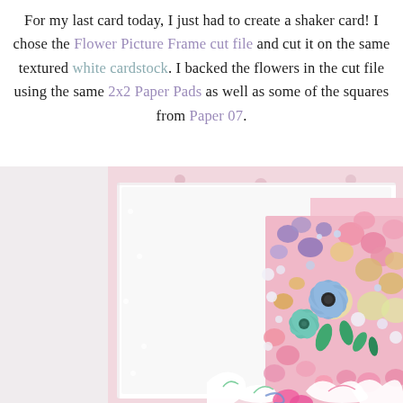For my last card today, I just had to create a shaker card! I chose the Flower Picture Frame cut file and cut it on the same textured white cardstock. I backed the flowers in the cut file using the same 2x2 Paper Pads as well as some of the squares from Paper 07.
[Figure (photo): Close-up photo of a handmade shaker card featuring a flower picture frame cut file on white textured cardstock, filled with colorful sequins, iridescent beads, paper flowers in blue, teal, pink, and purple colors with green leaf accents. The card has a pink patterned backing visible behind the white frame.]